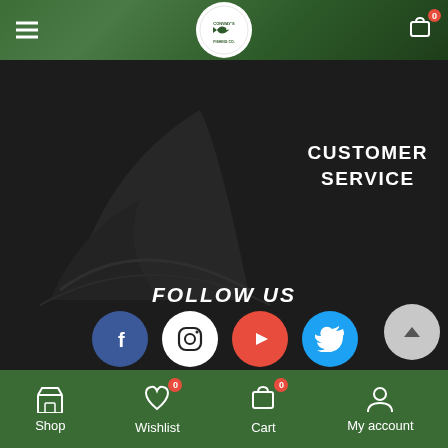[Figure (screenshot): Website navigation header with hamburger menu, circular logo for Conway's Fishing Co., and shopping cart icon with badge showing 0]
[Figure (logo): Dark shark fin silhouette watermark on dark background, center-left of main section]
CUSTOMER SERVICE
FOLLOW US
[Figure (infographic): Social media icons in circles: Facebook (blue), Instagram (white/black), YouTube (red), Twitter (blue)]
[Figure (other): Scroll-to-top button, grey circle with upward chevron]
Shop  Wishlist 0  Cart 0  My account